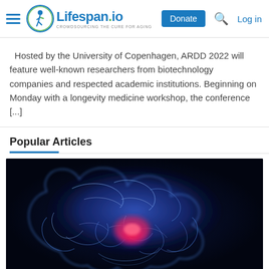Lifespan.io — CROWDSOURCING THE CURE FOR AGING — Donate | Log in
Hosted by the University of Copenhagen, ARDD 2022 will feature well-known researchers from biotechnology companies and respected academic institutions. Beginning on Monday with a longevity medicine workshop, the conference [...]
Popular Articles
[Figure (photo): Glowing blue and pink brain illustration on dark background, showing a highlighted region in the center of the brain.]